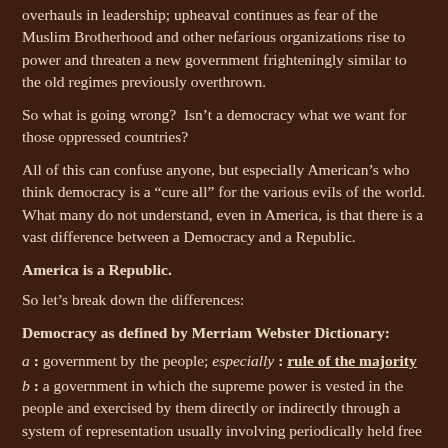overhauls in leadership; upheaval continues as fear of the Muslim Brotherhood and other nefarious organizations rise to power and threaten a new government frighteningly similar to the old regimes previously overthrown.
So what is going wrong?  Isn’t a democracy what we want for those oppressed countries?
All of this can confuse anyone, but especially American’s who think democracy is a “cure all” for the various evils of the world. What many do not understand, even in America, is that there is a vast difference between a Democracy and a Republic.
America is a Republic.
So let’s break down the differences:
Democracy as defined by Merriam Webster Dictionary:
a : government by the people; especially : rule of the majority
b : a government in which the supreme power is vested in the people and exercised by them directly or indirectly through a system of representation usually involving periodically held free